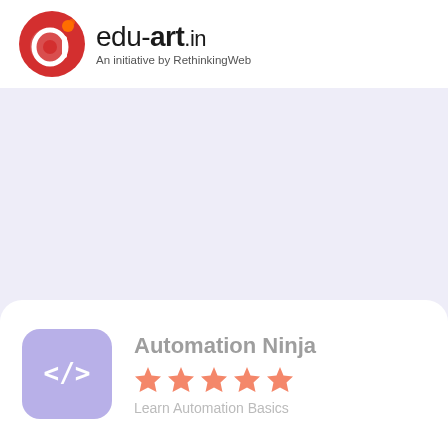[Figure (logo): edu-art.in logo with red circular icon featuring stylized 'a' character with orange spark, followed by brand name 'edu-art.in' and tagline 'An initiative by RethinkingWeb']
[Figure (illustration): Lavender/purple background area filling most of the page body]
[Figure (illustration): White card at bottom with purple code icon box showing </> symbol, title 'Automation Ninja', 5 orange/salmon stars, and partial subtitle text 'Learn Automation Basics']